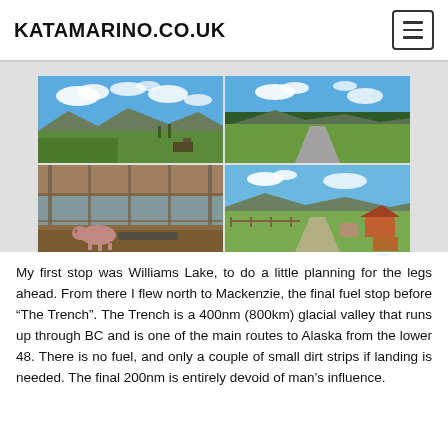KATAMARINO.CO.UK
[Figure (photo): Four outdoor landscape photos arranged in a 2x2 grid: top-left shows green fields with mountains and blue sky; top-right shows a road/runway with mountains and blue sky; bottom-left shows an animal pen/farm structure with a pig; bottom-right shows a farm/ranch scene with fences and mountains.]
My first stop was Williams Lake, to do a little planning for the legs ahead. From there I flew north to Mackenzie, the final fuel stop before “The Trench”. The Trench is a 400nm (800km) glacial valley that runs up through BC and is one of the main routes to Alaska from the lower 48. There is no fuel, and only a couple of small dirt strips if landing is needed. The final 200nm is entirely devoid of man’s influence.